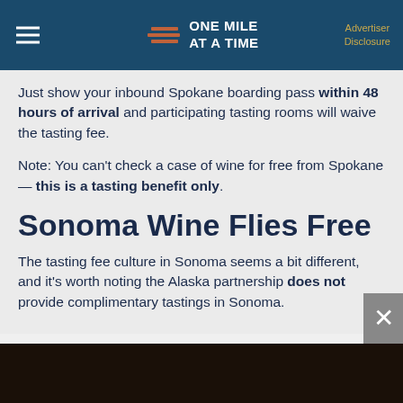ONE MILE AT A TIME | Advertiser Disclosure
Just show your inbound Spokane boarding pass within 48 hours of arrival and participating tasting rooms will waive the tasting fee.
Note: You can’t check a case of wine for free from Spokane — this is a tasting benefit only.
Sonoma Wine Flies Free
The tasting fee culture in Sonoma seems a bit different, and it’s worth noting the Alaska partnership does not provide complimentary tastings in Sonoma.
[Figure (photo): Dark background image at bottom of page, partially visible]